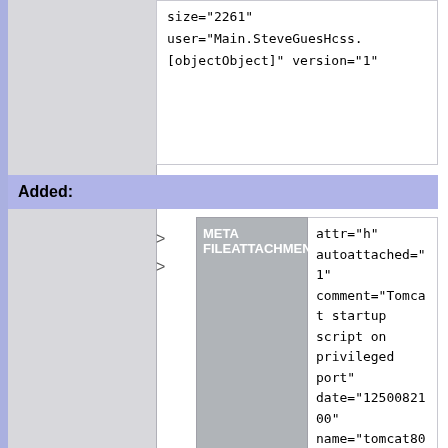size="2261" user="Main.SteveGuesHcss.[objectObject]" version="1"
Added:
META FILEATTACHMENT attr="h" autoattached="1" comment="Tomcat startup script on privileged port" date="1250082100" name="tomcat80" path="tomcat80" size="2613" user="Main.SteveGuesHcss.[objectObject]" version="1"
META FILEATTACHMENT attr="h" autoattached="1" comment="" date="1301394913" name="genpwd.sh" path="genpwd.sh" size="608" user="Main.SteveGuesHcss.